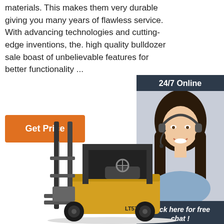materials. This makes them very durable giving you many years of flawless service. With advancing technologies and cutting-edge inventions, the. high quality bulldozer sale boast of unbelievable features for better functionality ...
Get Price
[Figure (infographic): 24/7 Online chat widget with a photo of a smiling woman wearing a headset, text 'Click here for free chat!' and a QUOTATION button]
[Figure (photo): Yellow and black forklift (LT570) on white background]